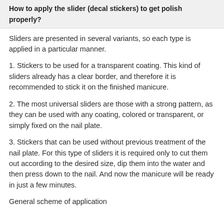How to apply the slider (decal stickers) to get polish properly?
Sliders are presented in several variants, so each type is applied in a particular manner.
1. Stickers to be used for a transparent coating. This kind of sliders already has a clear border, and therefore it is recommended to stick it on the finished manicure.
2. The most universal sliders are those with a strong pattern, as they can be used with any coating, colored or transparent, or simply fixed on the nail plate.
3. Stickers that can be used without previous treatment of the nail plate. For this type of sliders it is required only to cut them out according to the desired size, dip them into the water and then press down to the nail. And now the manicure will be ready in just a few minutes.
General scheme of application